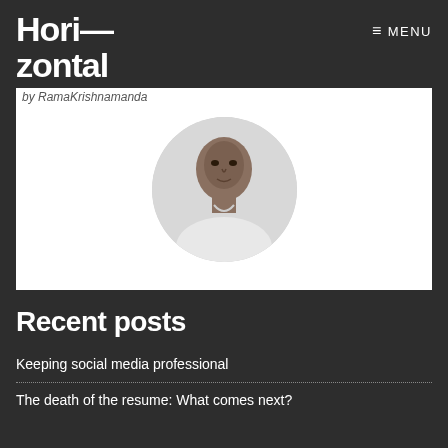Hori—
zontal
≡ MENU
by RamaKrishnamanda
[Figure (photo): Circular profile photo of a man wearing a white shirt, black and white image, on a white rectangular card background.]
Recent posts
Keeping social media professional
The death of the resume: What comes next?